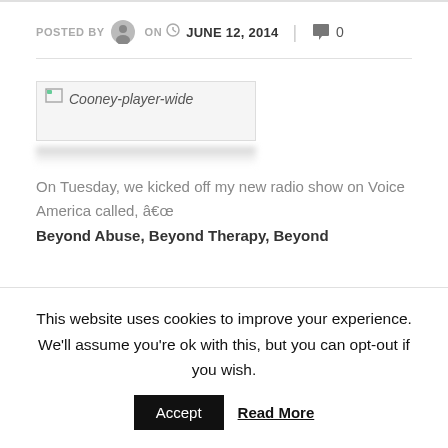POSTED BY ON JUNE 12, 2014 | 0
[Figure (photo): Cooney-player-wide image placeholder with broken image icon]
On Tuesday, we kicked off my new radio show on Voice America called, â€œ
Beyond Abuse, Beyond Therapy, Beyond
This website uses cookies to improve your experience. We'll assume you're ok with this, but you can opt-out if you wish.